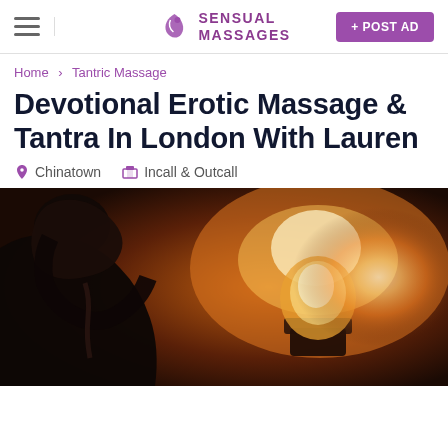SENSUAL MASSAGES | + POST AD
Home > Tantric Massage
Devotional Erotic Massage & Tantra In London With Lauren
Chinatown  Incall & Outcall
[Figure (photo): Photo of a woman seen from behind with dark hair, silhouetted against a warm glowing salt lamp in an amber-lit room.]